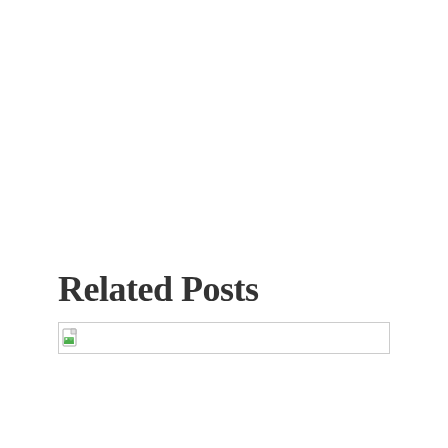Related Posts
[Figure (other): Broken image placeholder — a small icon showing a torn/missing image with a green corner, inside a bordered rectangle spanning most of the content width]